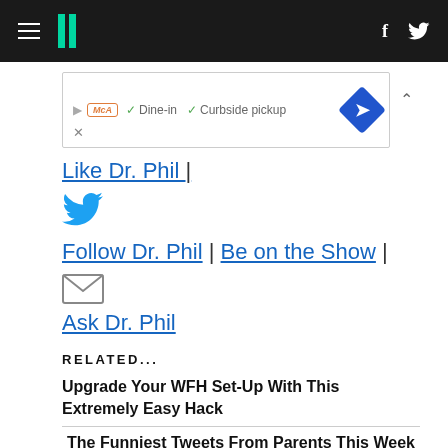HuffPost navigation bar with hamburger menu, logo, Facebook and Twitter icons
[Figure (screenshot): Ad banner showing play button, MCA logo, checkmarks for Dine-in and Curbside pickup, blue diamond direction arrow, and close X button]
Like Dr. Phil |
[Figure (logo): Twitter bird icon in teal/cyan color]
Follow Dr. Phil | Be on the Show |
[Figure (illustration): Email envelope icon]
Ask Dr. Phil
RELATED...
Upgrade Your WFH Set-Up With This Extremely Easy Hack
The Funniest Tweets From Parents This Week
You'll Never Want To Guess What's In Your Hot Dog